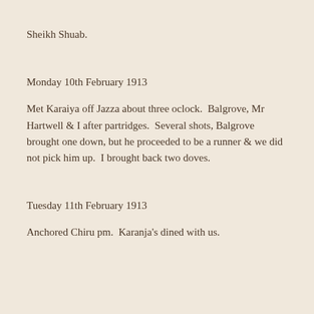Sheikh Shuab.
Monday 10th February 1913
Met Karaiya off Jazza about three oclock.  Balgrove, Mr Hartwell & I after partridges.  Several shots, Balgrove brought one down, but he proceeded to be a runner & we did not pick him up.  I brought back two doves.
Tuesday 11th February 1913
Anchored Chiru pm.  Karanja's dined with us.